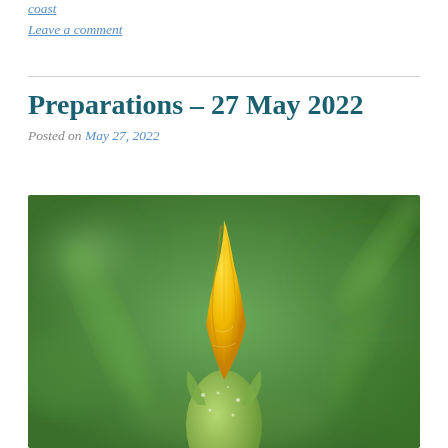coast
Leave a comment
Preparations – 27 May 2022
Posted on May 27, 2022
[Figure (photo): Close-up macro photograph of a yellow flower bud (likely a squash or pumpkin blossom) just beginning to open, with a bright yellow twisted petal tip emerging from a green calyx covered in tiny droplets, against a blurred green background.]